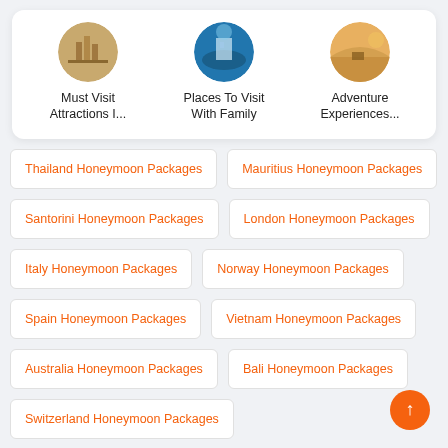[Figure (infographic): Three circular thumbnail images with labels: Must Visit Attractions I..., Places To Visit With Family, Adventure Experiences...]
Thailand Honeymoon Packages
Mauritius Honeymoon Packages
Santorini Honeymoon Packages
London Honeymoon Packages
Italy Honeymoon Packages
Norway Honeymoon Packages
Spain Honeymoon Packages
Vietnam Honeymoon Packages
Australia Honeymoon Packages
Bali Honeymoon Packages
Switzerland Honeymoon Packages
Bhutan Honeymoon Packages
Seychelles Honeymoon Packages
Greece Honeymoon Packages
Phuket Honeymoon Packages